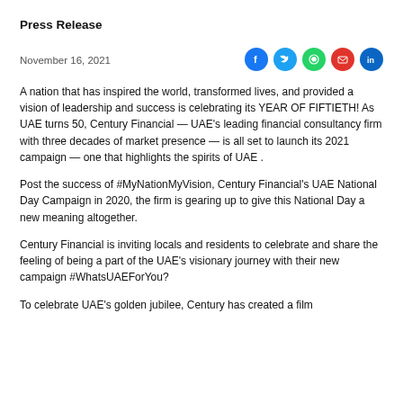Press Release
November 16, 2021
[Figure (other): Social media share icons: Facebook, Twitter, WhatsApp, Email, LinkedIn]
A nation that has inspired the world, transformed lives, and provided a vision of leadership and success is celebrating its YEAR OF FIFTIETH! As UAE turns 50, Century Financial — UAE's leading financial consultancy firm with three decades of market presence — is all set to launch its 2021 campaign — one that highlights the spirits of UAE .
Post the success of #MyNationMyVision, Century Financial's UAE National Day Campaign in 2020, the firm is gearing up to give this National Day a new meaning altogether.
Century Financial is inviting locals and residents to celebrate and share the feeling of being a part of the UAE's visionary journey with their new campaign #WhatsUAEForYou?
To celebrate UAE's golden jubilee, Century has created a film